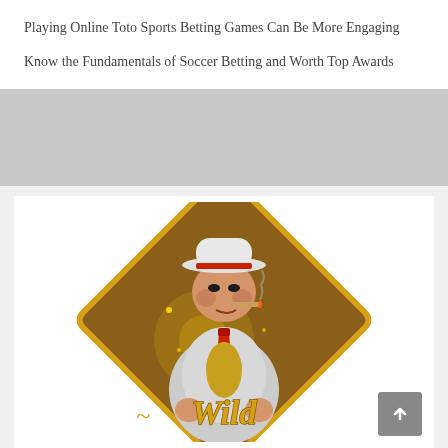Playing Online Toto Sports Betting Games Can Be More Engaging
Know the Fundamentals of Soccer Betting and Worth Top Awards
[Figure (illustration): A slot machine Wild card symbol featuring a heavyset man in a white suit and fedora hat with a red tie, smoking a cigar. The character is set against a brown diamond-shaped golden-bordered background with the word 'Wild' written in gold cursive script below.]